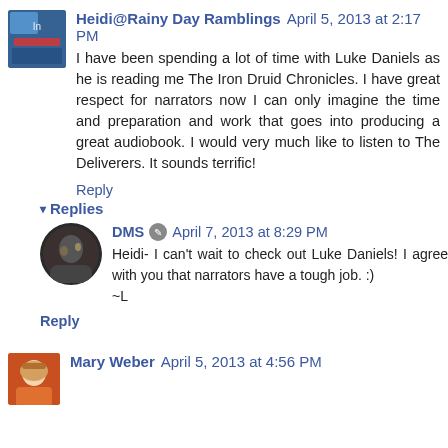[Figure (photo): Avatar thumbnail for Heidi@Rainy Day Ramblings, small square image with blue/teal tones]
Heidi@Rainy Day Ramblings April 5, 2013 at 2:17 PM
I have been spending a lot of time with Luke Daniels as he is reading me The Iron Druid Chronicles. I have great respect for narrators now I can only imagine the time and preparation and work that goes into producing a great audiobook. I would very much like to listen to The Deliverers. It sounds terrific!
Reply
Replies
[Figure (photo): Avatar circle image for DMS commenter, dark tones]
DMS April 7, 2013 at 8:29 PM
Heidi- I can't wait to check out Luke Daniels! I agree with you that narrators have a tough job. :) ~L
Reply
[Figure (photo): Avatar thumbnail for Mary Weber, photo of a woman with light hair]
Mary Weber April 5, 2013 at 4:56 PM